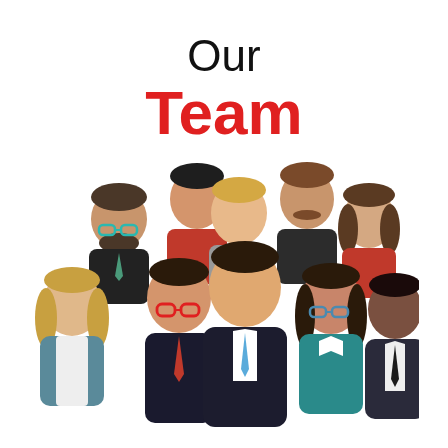Our
Team
[Figure (illustration): Flat-style illustration of a group of nine diverse people (team members) with various hair colors, skin tones, glasses, and clothing, arranged in a group portrait.]
MOTIVATION AND INNOVATION HAS UPGRADED OUR PASSION TO CONVERT ENTREPRENEURSHIP TO A CORPORATE ENTITY. THIS